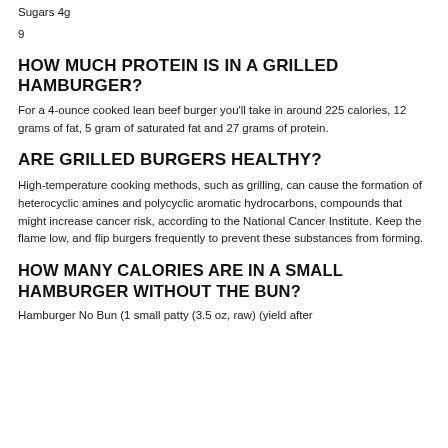Sugars 4g
9
HOW MUCH PROTEIN IS IN A GRILLED HAMBURGER?
For a 4-ounce cooked lean beef burger you'll take in around 225 calories, 12 grams of fat, 5 gram of saturated fat and 27 grams of protein.
ARE GRILLED BURGERS HEALTHY?
High-temperature cooking methods, such as grilling, can cause the formation of heterocyclic amines and polycyclic aromatic hydrocarbons, compounds that might increase cancer risk, according to the National Cancer Institute. Keep the flame low, and flip burgers frequently to prevent these substances from forming.
HOW MANY CALORIES ARE IN A SMALL HAMBURGER WITHOUT THE BUN?
Hamburger No Bun (1 small patty (3.5 oz, raw) (yield after